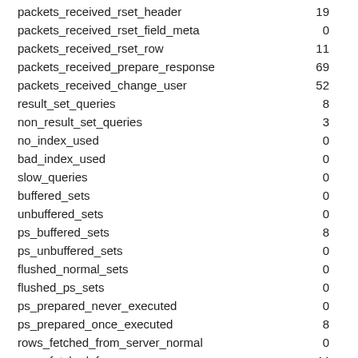| key | value |
| --- | --- |
| packets_received_rset_header | 19 |
| packets_received_rset_field_meta | 0 |
| packets_received_rset_row | 11 |
| packets_received_prepare_response | 69 |
| packets_received_change_user | 52 |
| result_set_queries | 8 |
| non_result_set_queries | 3 |
| no_index_used | 0 |
| bad_index_used | 0 |
| slow_queries | 0 |
| buffered_sets | 0 |
| unbuffered_sets | 0 |
| ps_buffered_sets | 8 |
| ps_unbuffered_sets | 0 |
| flushed_normal_sets | 0 |
| flushed_ps_sets | 0 |
| ps_prepared_never_executed | 0 |
| ps_prepared_once_executed | 8 |
| rows_fetched_from_server_normal | 0 |
| rows_fetched_from_server_ps | 44 |